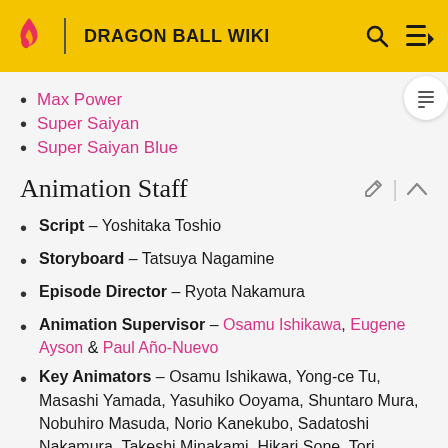DRAGON BALL WIKI
Max Power
Super Saiyan
Super Saiyan Blue
Animation Staff
Script - Yoshitaka Toshio
Storyboard - Tatsuya Nagamine
Episode Director - Ryota Nakamura
Animation Supervisor - Osamu Ishikawa, Eugene Ayson & Paul Año-Nuevo
Key Animators - Osamu Ishikawa, Yong-ce Tu, Masashi Yamada, Yasuhiko Ooyama, Shuntaro Mura, Nobuhiro Masuda, Norio Kanekubo, Sadatoshi Nakamura, Takeshi Minakami, Hikari Sone, Tori...